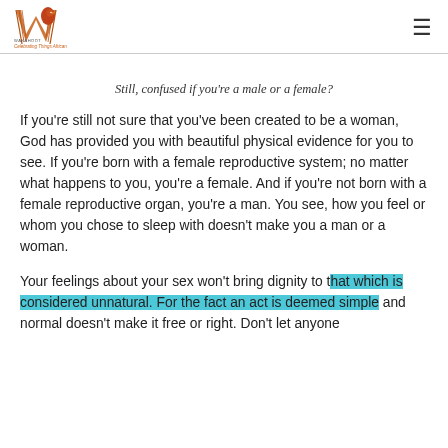[Figure (logo): Website logo with stylized W and bird, with tagline text below]
Still, confused if you're a male or a female?
If you're still not sure that you've been created to be a woman, God has provided you with beautiful physical evidence for you to see. If you're born with a female reproductive system; no matter what happens to you, you're a female. And if you're not born with a female reproductive organ, you're a man. You see, how you feel or whom you chose to sleep with doesn't make you a man or a woman.
Your feelings about your sex won't bring dignity to that which is considered unnatural. For the fact an act is deemed simple and normal doesn't make it free or right. Don't let anyone